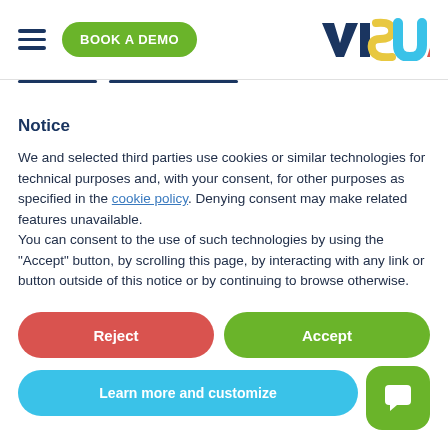BOOK A DEMO | VISUA
Notice
We and selected third parties use cookies or similar technologies for technical purposes and, with your consent, for other purposes as specified in the cookie policy. Denying consent may make related features unavailable.
You can consent to the use of such technologies by using the “Accept” button, by scrolling this page, by interacting with any link or button outside of this notice or by continuing to browse otherwise.
Reject
Accept
Learn more and customize